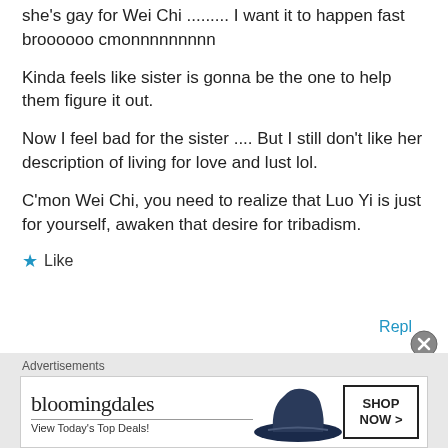she's gay for Wei Chi ......... I want it to happen fast broooooo cmonnnnnnnnn
Kinda feels like sister is gonna be the one to help them figure it out.
Now I feel bad for the sister .... But I still don't like her description of living for love and lust lol.
C'mon Wei Chi, you need to realize that Luo Yi is just for yourself, awaken that desire for tribadism.
★ Like
Reply
Advertisements
[Figure (other): Bloomingdale's advertisement banner with hat image and Shop Now button]